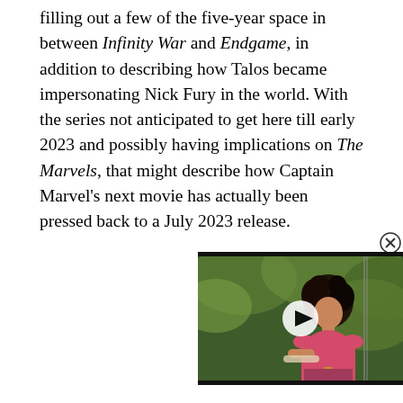filling out a few of the five-year space in between Infinity War and Endgame, in addition to describing how Talos became impersonating Nick Fury in the world. With the series not anticipated to get here till early 2023 and possibly having implications on The Marvels, that might describe how Captain Marvel's next movie has actually been pressed back to a July 2023 release.
[Figure (screenshot): Video player thumbnail showing a woman with curly dark hair wearing a pink top, sitting outdoors with greenery in background, with a play button overlay and close button (X in circle) in top right corner.]